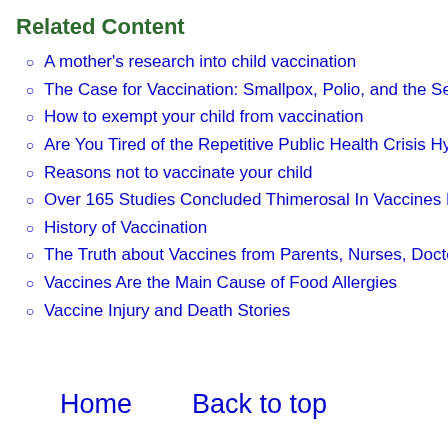Related Content
A mother's research into child vaccination
The Case for Vaccination: Smallpox, Polio, and the Se
How to exempt your child from vaccination
Are You Tired of the Repetitive Public Health Crisis Hy
Reasons not to vaccinate your child
Over 165 Studies Concluded Thimerosal In Vaccines M
History of Vaccination
The Truth about Vaccines from Parents, Nurses, Docto
Vaccines Are the Main Cause of Food Allergies
Vaccine Injury and Death Stories
Home   Back to top